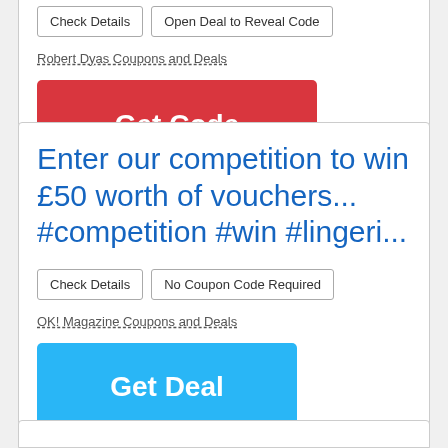Check Details | Open Deal to Reveal Code
Robert Dyas Coupons and Deals
Get Code
Enter our competition to win £50 worth of vouchers... #competition #win #lingeri...
Check Details | No Coupon Code Required
OK! Magazine Coupons and Deals
Get Deal